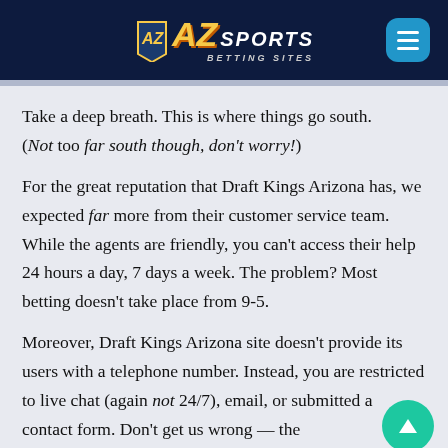AZ Sports Betting Sites
Take a deep breath. This is where things go south. (Not too far south though, don't worry!)
For the great reputation that Draft Kings Arizona has, we expected far more from their customer service team. While the agents are friendly, you can't access their help 24 hours a day, 7 days a week. The problem? Most betting doesn't take place from 9-5.
Moreover, Draft Kings Arizona site doesn't provide its users with a telephone number. Instead, you are restricted to live chat (again not 24/7), email, or submitted a contact form. Don't get us wrong — the